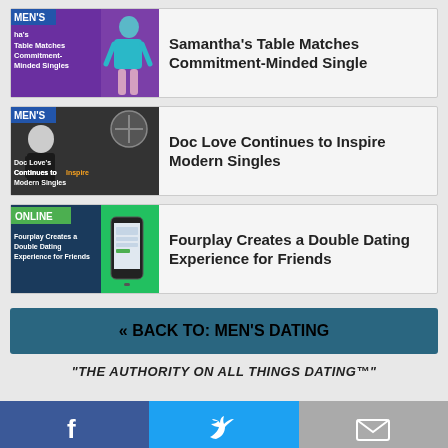[Figure (infographic): Article thumbnail: purple background with woman figure, MEN'S label, text: Table Matches Commitment-Minded Singles]
Samantha's Table Matches Commitment-Minded Single
[Figure (infographic): Article thumbnail: dark grey background with man figure, MEN'S label, text: Doc Love's Continues to Inspire Modern Singles]
Doc Love Continues to Inspire Modern Singles
[Figure (infographic): Article thumbnail: dark blue and green background with phone, ONLINE label, text: Fourplay Creates a Double Dating Experience for Friends]
Fourplay Creates a Double Dating Experience for Friends
« BACK TO: MEN'S DATING
"THE AUTHORITY ON ALL THINGS DATING™"
[Figure (infographic): Social media bar with Facebook, Twitter, and email icons]